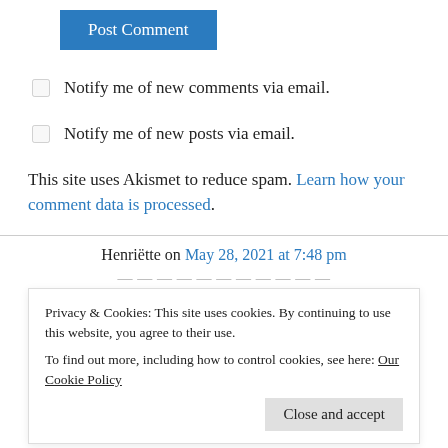[Figure (screenshot): Blue 'Post Comment' button]
Notify me of new comments via email.
Notify me of new posts via email.
This site uses Akismet to reduce spam. Learn how your comment data is processed.
Henriëtte on May 28, 2021 at 7:48 pm
Privacy & Cookies: This site uses cookies. By continuing to use this website, you agree to their use.
To find out more, including how to control cookies, see here: Our Cookie Policy
Thank you so much for sharing this gorgeous